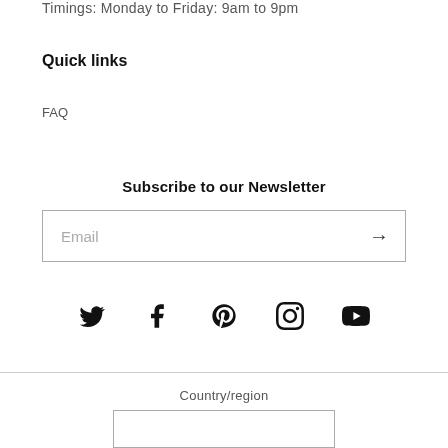Timings: Monday to Friday: 9am to 9pm
Quick links
FAQ
Subscribe to our Newsletter
Email
[Figure (other): Social media icons row: Twitter, Facebook, Pinterest, Instagram, YouTube]
Country/region